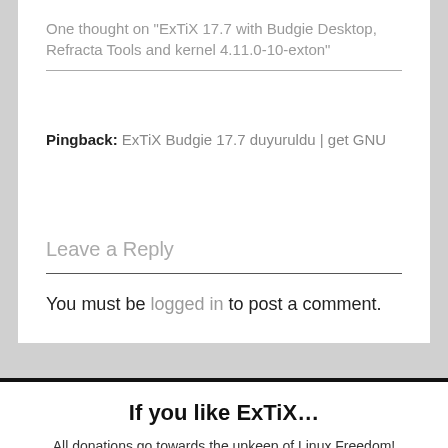One thought on “ExTiX 17.7 with Budgie Desktop, Refracta Tools and kernel 4.11.0-10-exton”
Pingback: ExTiX Budgie 17.7 duyuruldu | get GNU
Leave a Reply
You must be logged in to post a comment.
If you like ExTiX…
All donations go towards the upkeep of Linux Freedom!